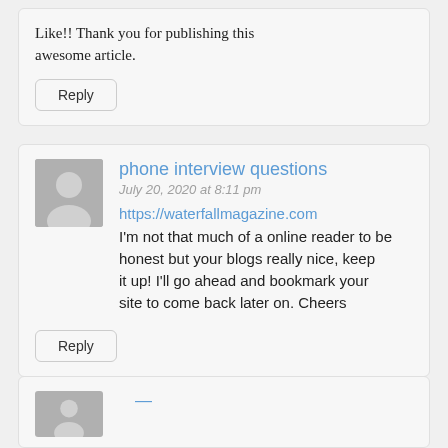Like!! Thank you for publishing this awesome article.
Reply
phone interview questions
July 20, 2020 at 8:11 pm
https://waterfallmagazine.com
I'm not that much of a online reader to be honest but your blogs really nice, keep it up! I'll go ahead and bookmark your site to come back later on. Cheers
Reply